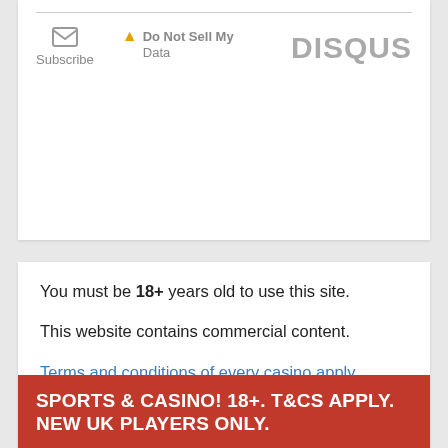[Figure (other): Disqus comment widget footer with Subscribe button (envelope icon), Do Not Sell My Data link (warning icon), and DISQUS logo]
You must be 18+ years old to use this site.

This website contains commercial content.

Terms and conditions of every casino apply.

Gamble Responsibly – Begambleaware.org
SPORTS & CASINO! 18+. T&CS APPLY. NEW UK PLAYERS ONLY.